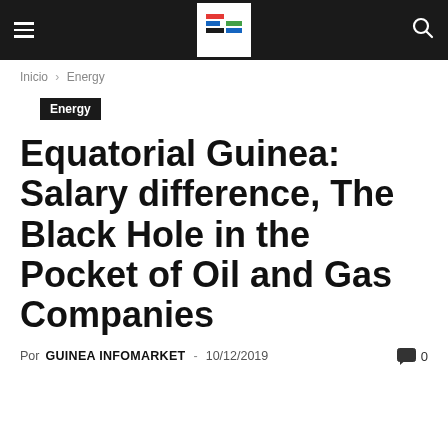Guinea Infomarket – Navigation header with logo
Inicio › Energy
Energy
Equatorial Guinea: Salary difference, The Black Hole in the Pocket of Oil and Gas Companies
Por GUINEA INFOMARKET - 10/12/2019   0